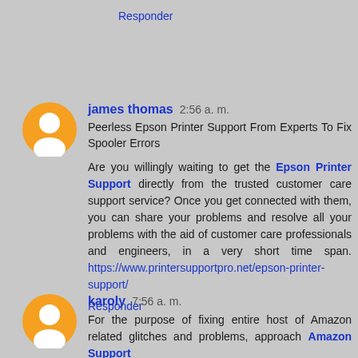Responder
james thomas 2:56 a. m.
Peerless Epson Printer Support From Experts To Fix Spooler Errors

Are you willingly waiting to get the Epson Printer Support directly from the trusted customer care support service? Once you get connected with them, you can share your problems and resolve all your problems with the aid of customer care professionals and engineers, in a very short time span. https://www.printersupportpro.net/epson-printer-support/
Responder
karoly 7:56 a. m.
For the purpose of fixing entire host of Amazon related glitches and problems, approach Amazon Support